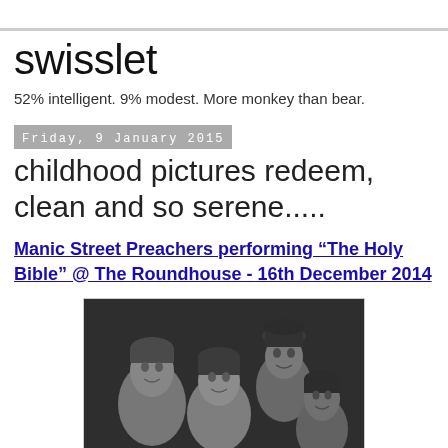swisslet
52% intelligent. 9% modest. More monkey than bear.
Friday, 9 January 2015
childhood pictures redeem, clean and so serene.....
Manic Street Preachers performing “The Holy Bible” @ The Roundhouse - 16th December 2014
[Figure (photo): Black and white photograph of four band members (Manic Street Preachers) posed together, looking at the camera]